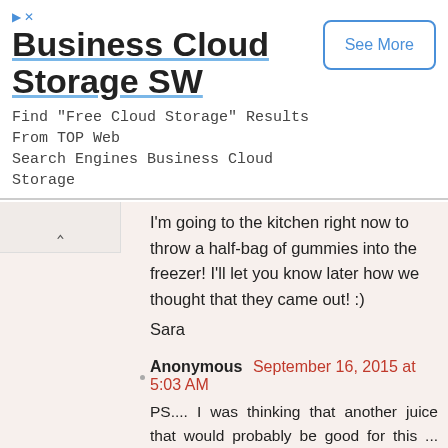[Figure (other): Advertisement banner for Business Cloud Storage SW with 'See More' button]
I'm going to the kitchen right now to throw a half-bag of gummies into the freezer! I'll let you know later how we thought that they came out! :)

Sara
Anonymous September 16, 2015 at 5:03 AM

PS.... I was thinking that another juice that would probably be good for this ... lovely color and pretty strong flavor ... would be a pomegranate. I only had it once, but does anyone here drink that "POM" brand juice? Seems like I remember that was quite strong. Lots of good nutritional aspects, too.... but as I recall NOT very frugal. Sara